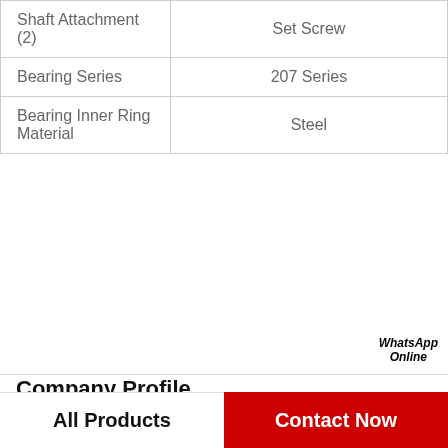| Property | Value |
| --- | --- |
| Shaft Attachment (2) | Set Screw |
| Bearing Series | 207 Series |
| Bearing Inner Ring Material | Steel |
[Figure (other): View more button with red border and red text, and WhatsApp green circle icon with WhatsApp Online label]
Company Profile
Jinan Yueyu Bearing Import & Export Co., Ltd.
Worktime  9:00-18:00【Beijing time】
Phone  86-02-72342633
All Products    Contact Now